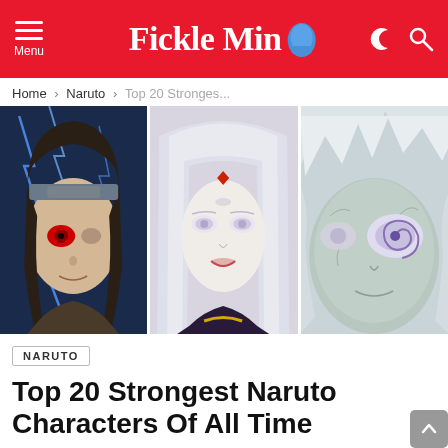Fickle Mind — Menu header with dark mode and search icons
Home › Naruto › Top 20 Stronges...
[Figure (illustration): Three Naruto anime characters shown in close-up face portraits side by side: left character with dark hair and red eye with lightning background, center character with white/silver hair and red diamond on forehead, right character with grey/green tones and spiral eye]
NARUTO
Top 20 Strongest Naruto Characters Of All Time